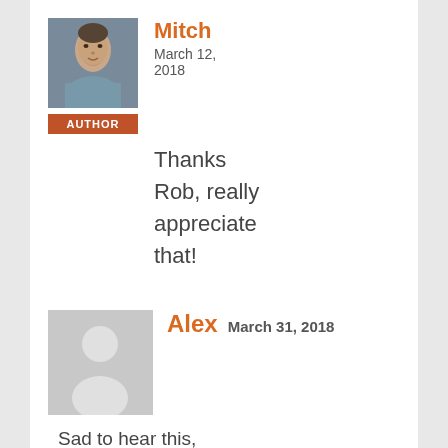[Figure (photo): Profile photo of Mitch, a man's face]
Mitch
March 12, 2018
AUTHOR
Thanks Rob, really appreciate that!
[Figure (illustration): Generic grey placeholder avatar silhouette]
Alex
March 31, 2018
Sad to hear this, adored playing this game @i58 but I am still looking forward to The Mannequin Reborn! I can wait for a good game!